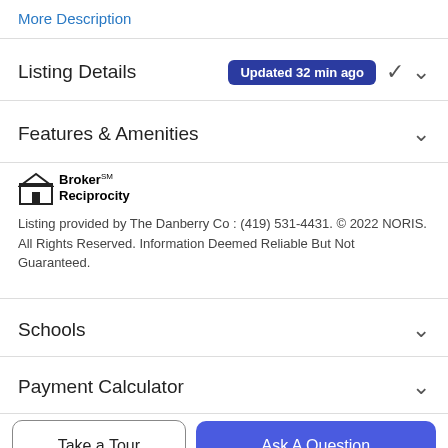More Description
Listing Details Updated 32 min ago
Features & Amenities
[Figure (logo): Broker Reciprocity logo with house icon]
Listing provided by The Danberry Co : (419) 531-4431. © 2022 NORIS. All Rights Reserved. Information Deemed Reliable But Not Guaranteed.
Schools
Payment Calculator
Take a Tour
Ask A Question